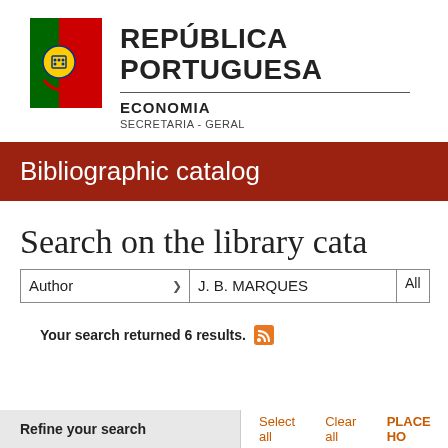[Figure (logo): República Portuguesa - Economia, Secretaria-Geral official logo with Portuguese flag emblem and text]
Bibliographic catalog
Search on the library cata
Author | J. B. MARQUES | All
Your search returned 6 results.
Refine your search   Select all   Clear all   PLACE HO